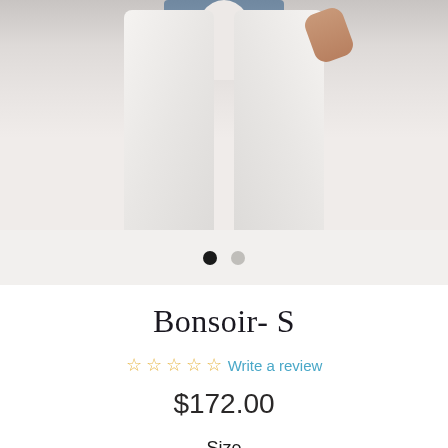[Figure (photo): Person wearing white tight pants/jeans with a blue top, photographed from waist down against a light gray background]
Bonsoir- S
☆ ☆ ☆ ☆ ☆ Write a review
$172.00
Size